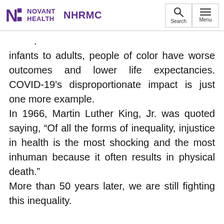Novant Health NHRMC
infants to adults, people of color have worse outcomes and lower life expectancies. COVID-19's disproportionate impact is just one more example.
In 1966, Martin Luther King, Jr. was quoted saying, “Of all the forms of inequality, injustice in health is the most shocking and the most inhuman because it often results in physical death.”
More than 50 years later, we are still fighting this inequality.